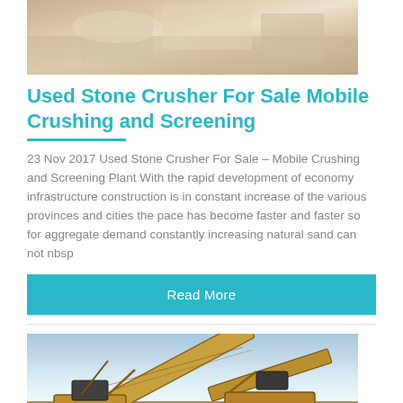[Figure (photo): Top portion of a stone/aggregate texture, sandy beige tones]
Used Stone Crusher For Sale Mobile Crushing and Screening
23 Nov 2017 Used Stone Crusher For Sale – Mobile Crushing and Screening Plant With the rapid development of economy infrastructure construction is in constant increase of the various provinces and cities the pace has become faster and faster so for aggregate demand constantly increasing natural sand can not nbsp
Read More
[Figure (photo): Mobile crushing and screening plant machinery with conveyor belts against a blue sky]